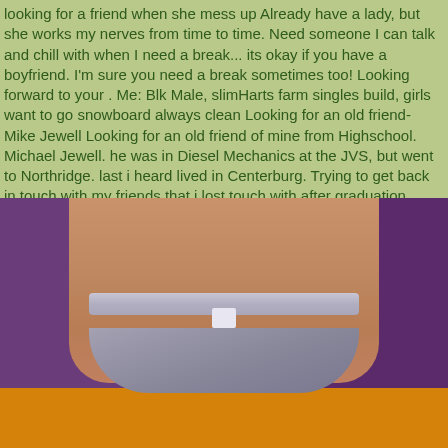looking for a friend when she mess up Already have a lady, but she works my nerves from time to time. Need someone I can talk and chill with when I need a break... its okay if you have a boyfriend. I'm sure you need a break sometimes too! Looking forward to your . Me: Blk Male, slimHarts farm singles build, girls want to go snowboard always clean Looking for an old friend- Mike Jewell Looking for an old friend of mine from Highschool. Michael Jewell. he was in Diesel Mechanics at the JVS, but went to Northridge. last i heard lived in Centerburg. Trying to get back in touch with my friends that i lost touch with after graduation. Honolulu cdp sex massage
[Figure (photo): Photo of a person's torso wearing silver/grey underwear, with a purple background on the sides and an orange floor visible at the bottom]